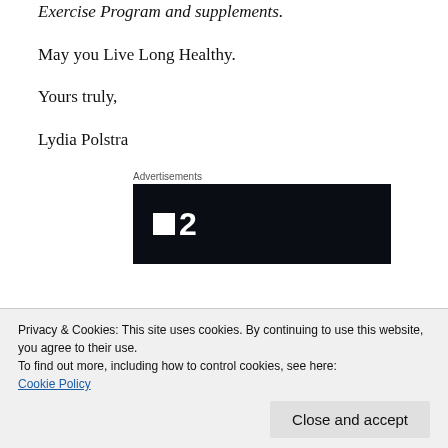Exercise Program and supplements.
May you Live Long Healthy.
Yours truly,
Lydia Polstra
Advertisements
[Figure (other): Advertisement banner with dark background showing a logo with a small white square and the number 2]
Privacy & Cookies: This site uses cookies. By continuing to use this website, you agree to their use.
To find out more, including how to control cookies, see here:
Cookie Policy
Close and accept